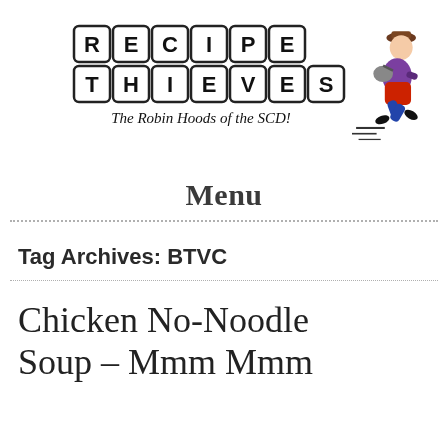[Figure (logo): Recipe Thieves logo: scrabble-tile style letters spelling RECIPE THIEVES, with tagline 'The Robin Hoods of the SCD!' and a cartoon character running with a bag]
Menu
Tag Archives: BTVC
Chicken No-Noodle Soup – Mmm Mmm